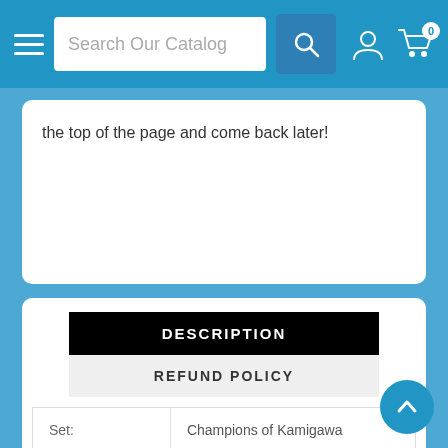Search Our Catalog
the top of the page and come back later!
DESCRIPTION
REFUND POLICY
| Set: | Champions of Kamigawa |
| Type: | Legendary Enchantment |
| Rarity: | Rare |
| Cost: | {2}{B}{B} |